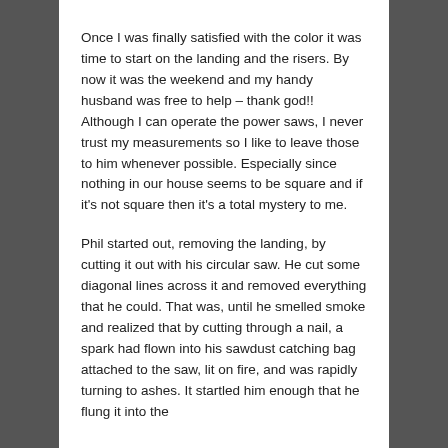Once I was finally satisfied with the color it was time to start on the landing and the risers. By now it was the weekend and my handy husband was free to help – thank god!! Although I can operate the power saws, I never trust my measurements so I like to leave those to him whenever possible. Especially since nothing in our house seems to be square and if it's not square then it's a total mystery to me.
Phil started out, removing the landing, by cutting it out with his circular saw. He cut some diagonal lines across it and removed everything that he could. That was, until he smelled smoke and realized that by cutting through a nail, a spark had flown into his sawdust catching bag attached to the saw, lit on fire, and was rapidly turning to ashes. It startled him enough that he flung it into the